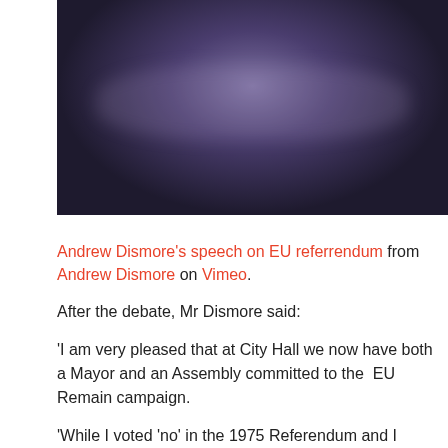[Figure (photo): Blurred dark photograph, appears to show a meeting hall or assembly room with purple/violet lighting tones]
Andrew Dismore's speech on EU referrendum from Andrew Dismore on Vimeo.
After the debate, Mr Dismore said:
'I am very pleased that at City Hall we now have both a Mayor and an Assembly committed to the  EU Remain campaign.
'While I voted 'no' in the 1975 Referendum and I believe that was the right decision then, the world, the EU and